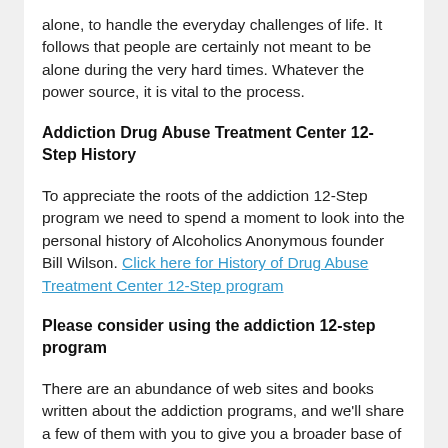alone, to handle the everyday challenges of life. It follows that people are certainly not meant to be alone during the very hard times. Whatever the power source, it is vital to the process.
Addiction Drug Abuse Treatment Center 12-Step History
To appreciate the roots of the addiction 12-Step program we need to spend a moment to look into the personal history of Alcoholics Anonymous founder Bill Wilson. Click here for History of Drug Abuse Treatment Center 12-Step program
Please consider using the addiction 12-step program
There are an abundance of web sites and books written about the addiction programs, and we'll share a few of them with you to give you a broader base of understanding and point you to a few excellence resources. The 12-Step program is steeped in tradition